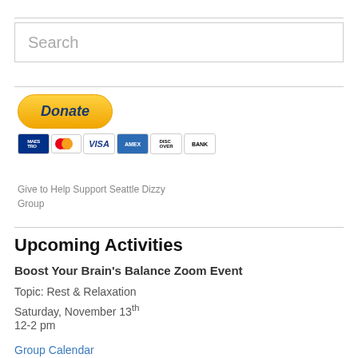[Figure (screenshot): Search input box with placeholder text 'Search']
[Figure (other): PayPal Donate button with payment icons (Maestro, Mastercard, VISA, American Express, Discover, Bank)]
Give to Help Support Seattle Dizzy Group
Upcoming Activities
Boost Your Brain's Balance Zoom Event
Topic: Rest & Relaxation
Saturday, November 13th
12-2 pm
Group Calendar